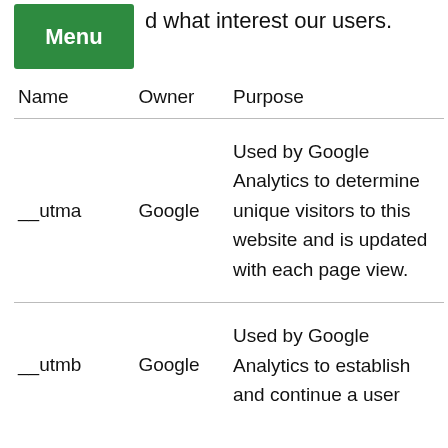d what interest our users.
| Name | Owner | Purpose |
| --- | --- | --- |
| __utma | Google | Used by Google Analytics to determine unique visitors to this website and is updated with each page view. |
| __utmb | Google | Used by Google Analytics to establish and continue a user... |